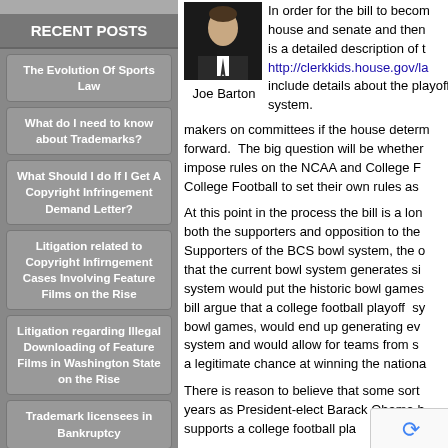RECENT POSTS
The Evolution Of Sports Law
What do I need to know about Trademarks?
What Should I do If I Get A Copyright Infringement Demand Letter?
Litigation related to Copyright Infirngement Cases Involving Feature Films on the Rise
Litigation regarding Illegal Downloading of Feature Films in Washington State on the Rise
Trademark licensees in Bankruptcy
ESPN Documentary
[Figure (photo): Headshot photo of Joe Barton in a suit and tie]
In order for the bill to become law it must pass both the house and senate and then signed. Below is a detailed description of the bill. http://clerkkids.house.gov/la include details about the playoff system. makers on committees if the house determines to move forward. The big question will be whether Congress should impose rules on the NCAA and College Football or allow College Football to set their own rules as to the system.
At this point in the process the bill is a long way from law. Both the supporters and opposition to the bill are mobilizing. Supporters of the BCS bowl system, the old system, argue that the current bowl system generates significant revenue; a playoff system would put the historic bowl games at risk. Opponents of this bill argue that a college football playoff system, while disrupting some bowl games, would end up generating even more revenue than the current system and would allow for teams from smaller conferences to have a legitimate chance at winning the national championship.
There is reason to believe that some sort of change will happen within the years as President-elect Barack Obama has been a vocal supporter and supports a college football playoff system. Yet for any bill to be approved by the house and could potentially be signed into law.